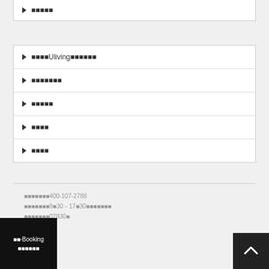▶ ■■■■■
▶ ■■■■Uliving■■■■■■
▶ ■■■■■■■
▶ ■■■■■
▶ ■■■■
▶ ■■■■
■■■■■■■400-107-2788
■■■■■■■9■30－17■30■■■■■■■
■■■■■■■02830■
■■·Booking
■■■■■■